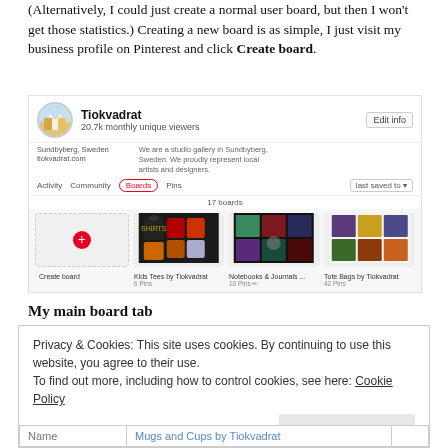(Alternatively, I could just create a normal user board, but then I won't get those statistics.) Creating a new board is as simple, I just visit my business profile on Pinterest and click Create board.
[Figure (screenshot): Pinterest business profile page for Tiokvadrat showing profile header with 20.7k monthly unique viewers, navigation tabs (Activity, Community, Boards, Pins), board grid showing Create board tile, Kids Tees by Tiokvadrat, Notebooks & Journals, and Tote Bags by Tiokvadrat boards.]
My main board tab
Privacy & Cookies: This site uses cookies. By continuing to use this website, you agree to their use.
To find out more, including how to control cookies, see here: Cookie Policy
| Name | Mugs and Cups by Tiokvadrat |
| --- | --- |